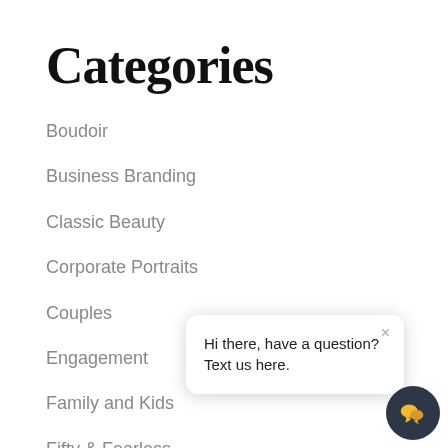Categories
Boudoir
Business Branding
Classic Beauty
Corporate Portraits
Couples
Engagement
Family and Kids
Fifty & Fearless
Lori
Mat
Men
Hi there, have a question? Text us here.